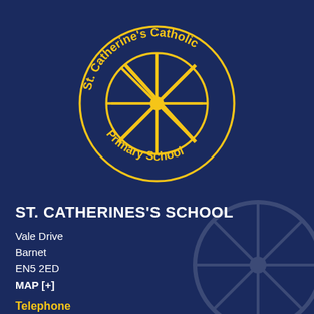[Figure (logo): St. Catherine's Catholic Primary School circular logo with yellow wheel/compass rose design and text arching around top and bottom]
ST. CATHERINES'S SCHOOL
Vale Drive
Barnet
EN5 2ED
MAP [+]
Telephone